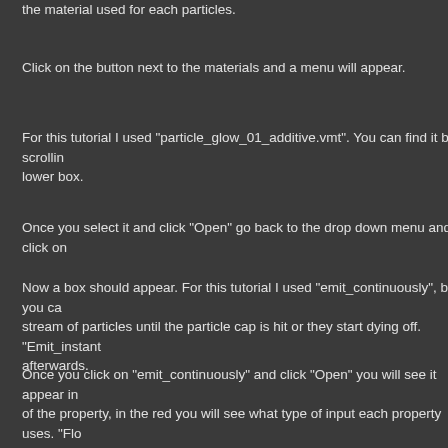the material used for each particles.
Click on the button next to the materials and a menu will appear.
For this tutorial I used "particle_glow_01_additive.vmt". You can find it by scrollin lower box.
Once you select it and click "Open" go back to the drop down menu and click on
Now a box should appear. For this tutorial I used "emit_continuously", but you ca stream of particles until the particle cap is hit or they start dying off. "Emit_instant afterwards.
Once you click on "emit_continuously" and click "Open" you will see it appear in of the property, in the red you will see what type of input each property uses. "Flo 3 numbers, and "string" is anything. In the green is where you will set the values one second.
Now you will notice that there are 1000 particles if you look at the particle viewer.